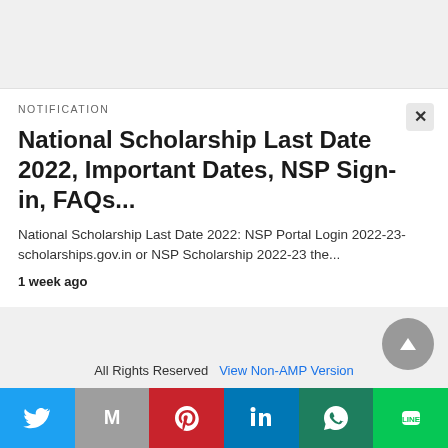NOTIFICATION
National Scholarship Last Date 2022, Important Dates, NSP Sign-in, FAQs...
National Scholarship Last Date 2022: NSP Portal Login 2022-23- scholarships.gov.in or NSP Scholarship 2022-23 the...
1 week ago
All Rights Reserved  View Non-AMP Version
[Figure (infographic): Social sharing bar with Twitter (blue), Gmail (gray), Pinterest (red), LinkedIn (blue), WhatsApp (teal), LINE (green) buttons]